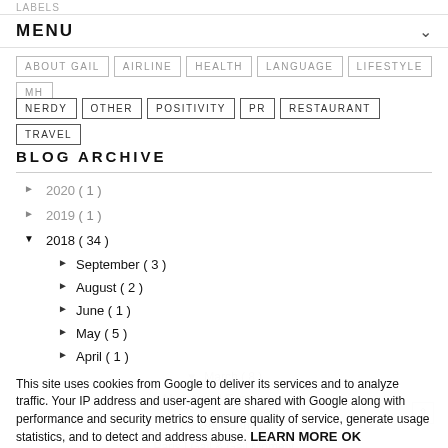LABELS
MENU
ABOUT GAIL
AIRLINE
HEALTH
LANGUAGE
LIFESTYLE
MH
NERDY
OTHER
POSITIVITY
PR
RESTAURANT
TRAVEL
BLOG ARCHIVE
► 2020 (1)
► 2019 (1)
▼ 2018 (34)
► September (3)
► August (2)
► June (1)
► May (5)
► April (1)
▼ March (8)
This site uses cookies from Google to deliver its services and to analyze traffic. Your IP address and user-agent are shared with Google along with performance and security metrics to ensure quality of service, generate usage statistics, and to detect and address abuse.
LEARN MORE   OK